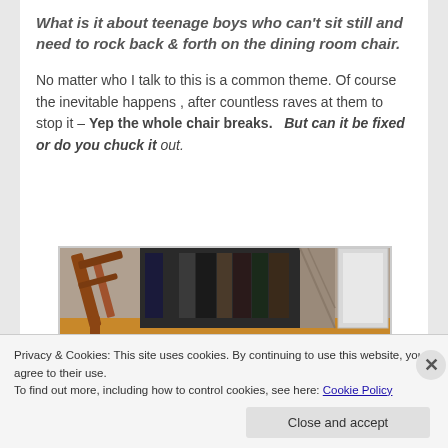What is it about teenage boys who can't sit still and need to rock back & forth on the dining room chair.
No matter who I talk to this is a common theme. Of course the inevitable happens , after countless raves at them to stop it – Yep the whole chair breaks.   But can it be fixed or do you chuck it out.
[Figure (photo): A broken wooden dining room chair leaning against furniture and bookshelves]
Privacy & Cookies: This site uses cookies. By continuing to use this website, you agree to their use.
To find out more, including how to control cookies, see here: Cookie Policy
Close and accept